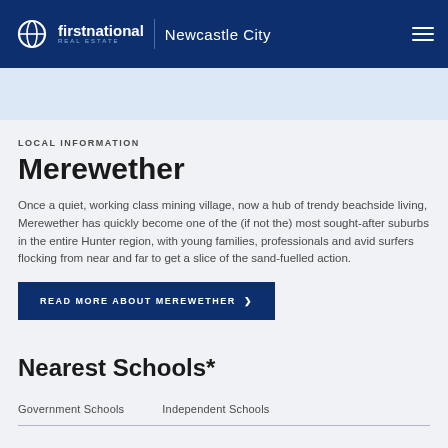firstnational REAL ESTATE | Newcastle City
LOCAL INFORMATION
Merewether
Once a quiet, working class mining village, now a hub of trendy beachside living, Merewether has quickly become one of the (if not the) most sought-after suburbs in the entire Hunter region, with young families, professionals and avid surfers flocking from near and far to get a slice of the sand-fuelled action.
READ MORE ABOUT MEREWETHER ❯
Nearest Schools*
Government Schools	Independent Schools